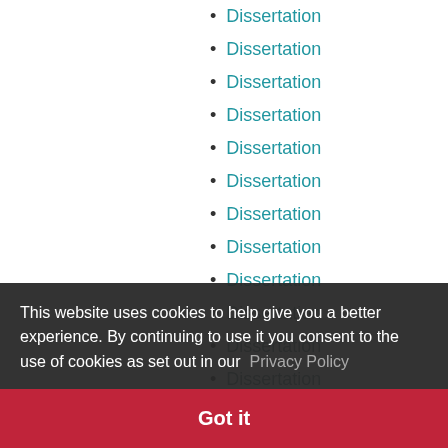Dissertation
Dissertation
Dissertation
Dissertation
Dissertation
Dissertation
Dissertation
Dissertation
Dissertation
Dissertation
Dissertation
Dissertation
Dissertation
Dissertation
Dissertation
Dissertation
Dissertation
Dissertation
Dissertation
This website uses cookies to help give you a better experience. By continuing to use it you consent to the use of cookies as set out in our Privacy Policy
Got it